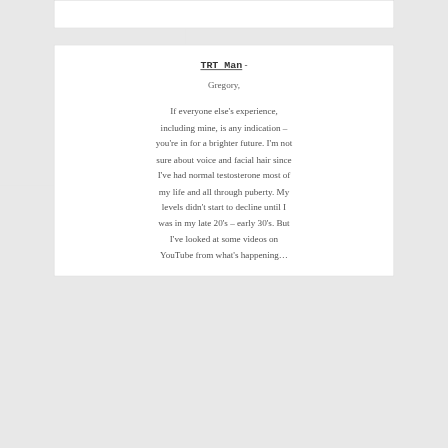TRT Man - Gregory, If everyone else's experience, including mine, is any indication – you're in for a brighter future. I'm not sure about voice and facial hair since I've had normal testosterone most of my life and all through puberty. My levels didn't start to decline until I was in my late 20's – early 30's. But I've looked at some videos on YouTube from what's happening…